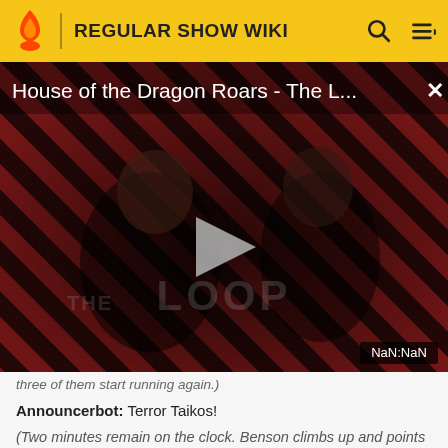REGULAR SHOW WIKI
[Figure (screenshot): Video player showing 'House of the Dragon Roars - The L...' with a dark figure silhouette against red diagonal striped background. Play button visible in center. THE LOOP logo watermark. Timestamp shows NaN:NaN.]
three of them start running again.)
Announcerbot: Terror Taikos!
(Two minutes remain on the clock. Benson climbs up and points the way.)